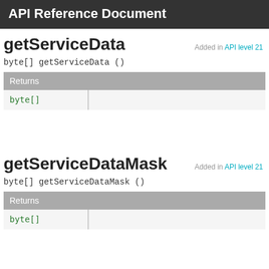API Reference Document
getServiceData
Added in API level 21
byte[] getServiceData ()
| Returns |
| --- |
| byte[] |  |
getServiceDataMask
Added in API level 21
byte[] getServiceDataMask ()
| Returns |
| --- |
| byte[] |  |